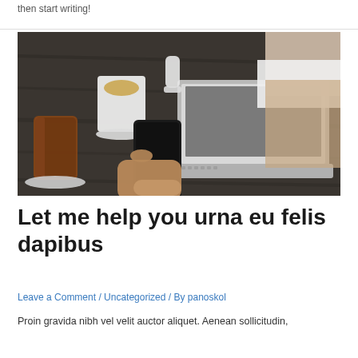then start writing!
[Figure (photo): Person holding a smartphone at a dark wooden cafe table with a laptop, coffee cup with saucer, and iced drink visible. A person in white shirt is visible in background.]
Let me help you urna eu felis dapibus
Leave a Comment / Uncategorized / By panoskol
Proin gravida nibh vel velit auctor aliquet. Aenean sollicitudin,